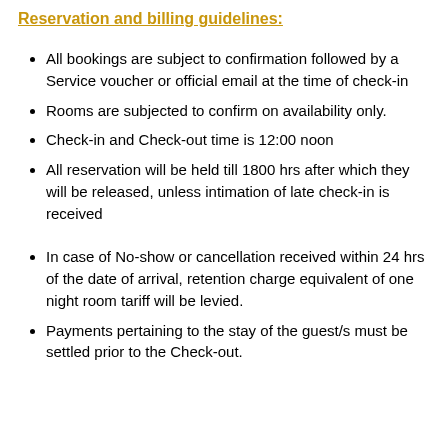Reservation and billing guidelines:
All bookings are subject to confirmation followed by a Service voucher or official email at the time of check-in
Rooms are subjected to confirm on availability only.
Check-in and Check-out time is 12:00 noon
All reservation will be held till 1800 hrs after which they will be released, unless intimation of late check-in is received
In case of No-show or cancellation received within 24 hrs of the date of arrival, retention charge equivalent of one night room tariff will be levied.
Payments pertaining to the stay of the guest/s must be settled prior to the Check-out.